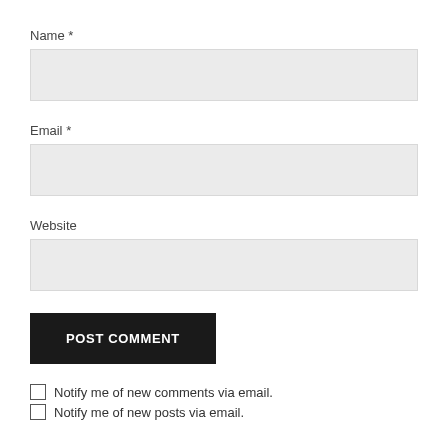Name *
[Figure (other): Empty text input field for Name]
Email *
[Figure (other): Empty text input field for Email]
Website
[Figure (other): Empty text input field for Website]
POST COMMENT
Notify me of new comments via email.
Notify me of new posts via email.